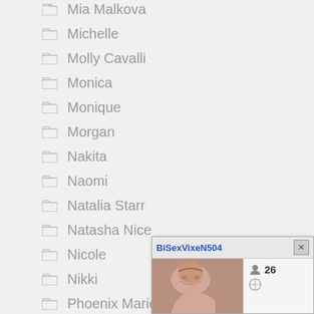Mia Malkova
Michelle
Molly Cavalli
Monica
Monique
Morgan
Nakita
Naomi
Natalia Starr
Natasha Nice
Nicole
Nikki
Phoenix Marie
Rachel Love
[Figure (screenshot): Popup chat widget showing user BiSexVixeN504 with age 26]